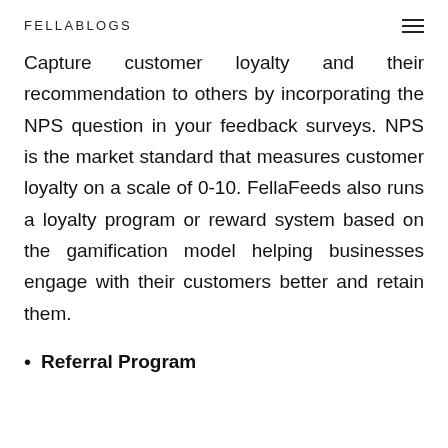FELLABLOGS
Capture customer loyalty and their recommendation to others by incorporating the NPS question in your feedback surveys. NPS is the market standard that measures customer loyalty on a scale of 0-10. FellaFeeds also runs a loyalty program or reward system based on the gamification model helping businesses engage with their customers better and retain them.
Referral Program